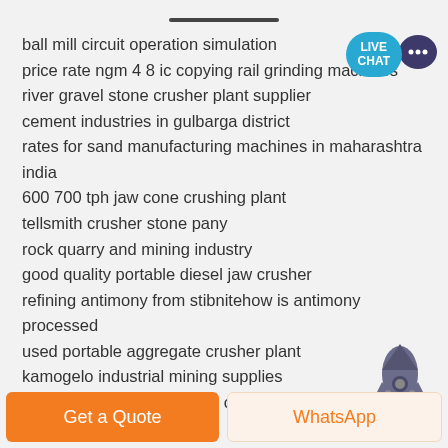ball mill circuit operation simulation
price rate ngm 4 8 ic copying rail grinding machines
river gravel stone crusher plant supplier
cement industries in gulbarga district
rates for sand manufacturing machines in maharashtra india
600 700 tph jaw cone crushing plant
tellsmith crusher stone pany
rock quarry and mining industry
good quality portable diesel jaw crusher
refining antimony from stibnitehow is antimony processed
used portable aggregate crusher plant
kamogelo industrial mining supplies
machinery used in grinding of quartz and feldspar
[Figure (illustration): Live Chat widget with teal speech bubble and dark chat icon]
[Figure (illustration): Dark grey rocket ship icon]
Get a Quote | WhatsApp